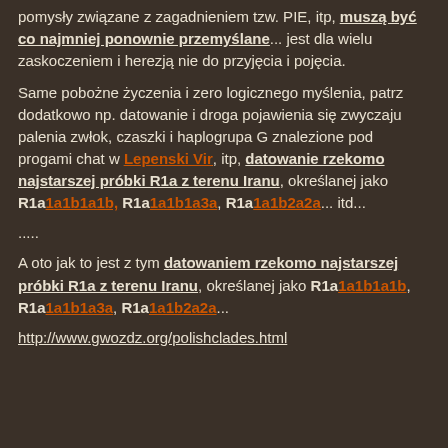pomysły związane z zagadnieniem tzw. PIE, itp, muszą być co najmniej ponownie przemyślane... jest dla wielu zaskoczeniem i herezją nie do przyjęcia i pojęcia.
Same pobożne życzenia i zero logicznego myślenia, patrz dodatkowo np. datowanie i droga pojawienia się zwyczaju palenia zwłok, czaszki i haplogrupa G znalezione pod progami chat w Lepenski Vir, itp, datowanie rzekomo najstarszej próbki R1a z terenu Iranu, określanej jako R1a1a1b1a1b, R1a1a1b1a3a, R1a1a1b2a2a... itd...
.....
A oto jak to jest z tym datowaniem rzekomo najstarszej próbki R1a z terenu Iranu, określanej jako R1a1a1b1a1b, R1a1a1b1a3a, R1a1a1b2a2a...
http://www.gwozdz.org/polishclades.html